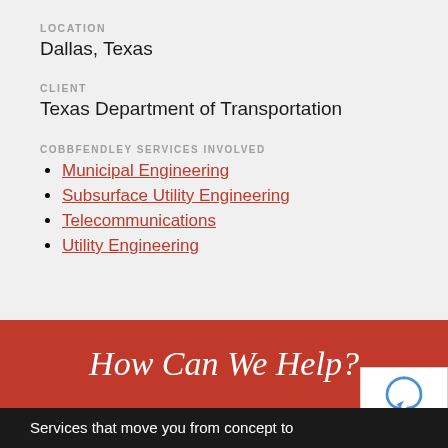LOCATION
Dallas, Texas
CLIENT
Texas Department of Transportation
COBBFENDLEY SERVICES INVOLVED
Municipal Engineering
Subsurface Utility Engineering
Telecommunications
Utility Engineering
How Can We Help?
Services that move you from concept to